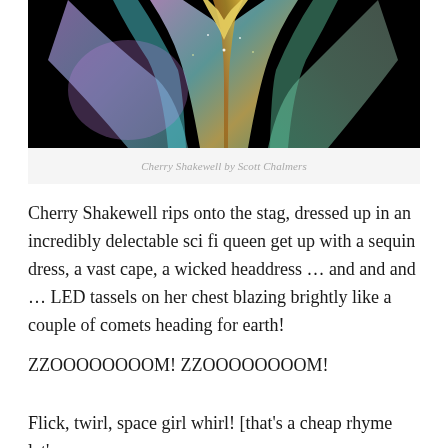[Figure (photo): A performer in an elaborate iridescent sci-fi queen costume with multicolored sequined dress and cape against a black background. Photo credit: Cherry Shakewell by Scott Chalmers.]
Cherry Shakewell by Scott Chalmers
Cherry Shakewell rips onto the stag, dressed up in an incredibly delectable sci fi queen get up with a sequin dress, a vast cape, a wicked headdress … and and and … LED tassels on her chest blazing brightly like a couple of comets heading for earth!
ZZOOOOOOOOM! ZZOOOOOOOOM!
Flick, twirl, space girl whirl! [that's a cheap rhyme let's